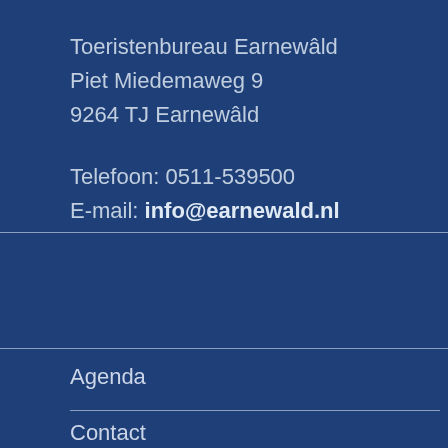Toeristenbureau Earnewâld
Piet Miedemaweg 9
9264 TJ Earnewâld
Telefoon: 0511-539500
E-mail: info@earnewald.nl
Agenda
Contact
Vaar, Wandel & Fiets APP